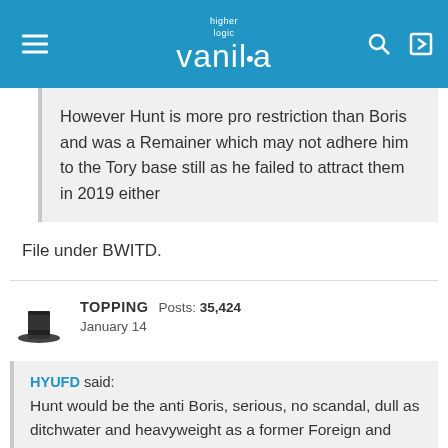higher logic vanilla
However Hunt is more pro restriction than Boris and was a Remainer which may not adhere him to the Tory base still as he failed to attract them in 2019 either
File under BWITD.
TOPPING  Posts: 35,424  January 14
HYUFD said: Hunt would be the anti Boris, serious, no scandal, dull as ditchwater and heavyweight as a former Foreign and Health Secretary and cttee chair. He